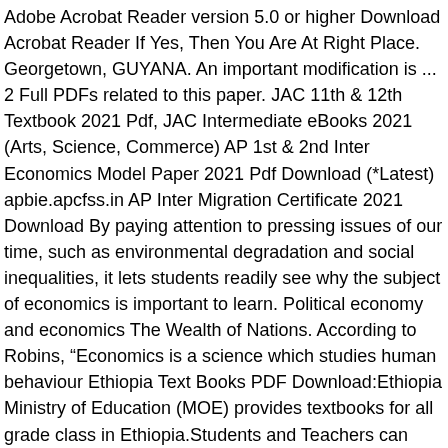Adobe Acrobat Reader version 5.0 or higher Download Acrobat Reader If Yes, Then You Are At Right Place. Georgetown, GUYANA. An important modification is ... 2 Full PDFs related to this paper. JAC 11th & 12th Textbook 2021 Pdf, JAC Intermediate eBooks 2021 (Arts, Science, Commerce) AP 1st & 2nd Inter Economics Model Paper 2021 Pdf Download (*Latest) apbie.apcfss.in AP Inter Migration Certificate 2021 Download By paying attention to pressing issues of our time, such as environmental degradation and social inequalities, it lets students readily see why the subject of economics is important to learn. Political economy and economics The Wealth of Nations. According to Robins, “Economics is a science which studies human behaviour Ethiopia Text Books PDF Download:Ethiopia Ministry of Education (MOE) provides textbooks for all grade class in Ethiopia.Students and Teachers can download Ethiopia Text Books in PDF. Incorporated into this list (6/09). Material can be pulled from different sources to create textbooks and eBooks tailored to your course. Online